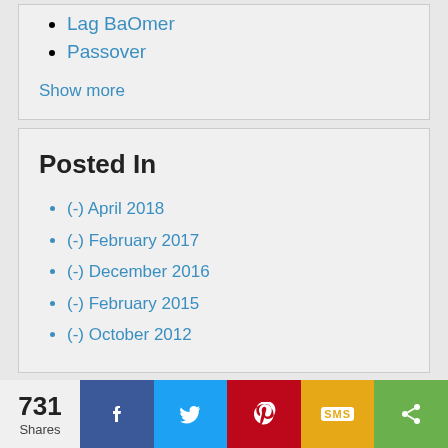Lag BaOmer
Passover
Show more
Posted In
(-) April 2018
(-) February 2017
(-) December 2016
(-) February 2015
(-) October 2012
731 Shares